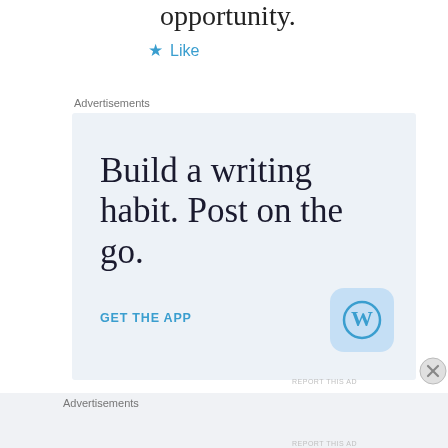opportunity.
★ Like
Advertisements
[Figure (screenshot): WordPress app advertisement: 'Build a writing habit. Post on the go.' with 'GET THE APP' link and WordPress logo icon.]
REPORT THIS AD
Advertisements